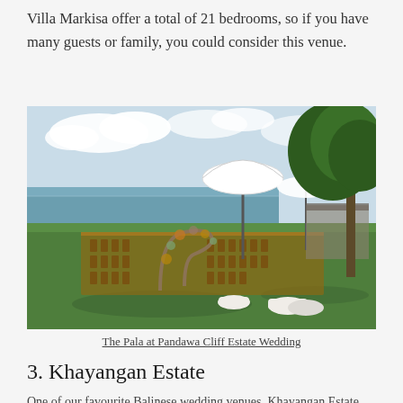Villa Markisa offer a total of 21 bedrooms, so if you have many guests or family, you could consider this venue.
[Figure (photo): Outdoor wedding ceremony setup at The Pala at Pandawa Cliff Estate. Rows of wooden chairs arranged on a raised platform on a green lawn overlooking the ocean. A floral arch stands at the altar. Large white Balinese umbrellas and modern structures are visible in the background under a partly cloudy sky.]
The Pala at Pandawa Cliff Estate Wedding
3. Khayangan Estate
One of our favourite Balinese wedding venues, Khayangan Estate has become...